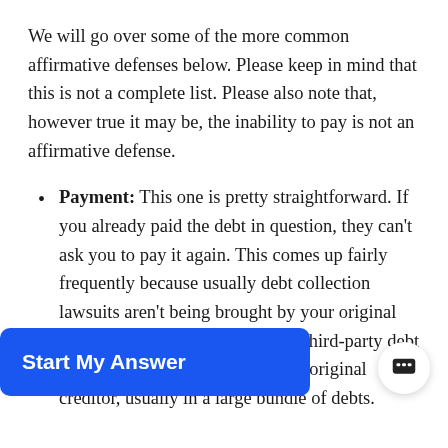We will go over some of the more common affirmative defenses below. Please keep in mind that this is not a complete list. Please also note that, however true it may be, the inability to pay is not an affirmative defense.
Payment: This one is pretty straightforward. If you already paid the debt in question, they can't ask you to pay it again. This comes up fairly frequently because usually debt collection lawsuits aren't being brought by your original creditor. Rather, the plaintiff is a third-party debt collection agency who [purchased the debt] from your original creditor, usually in a large bundle of debts.